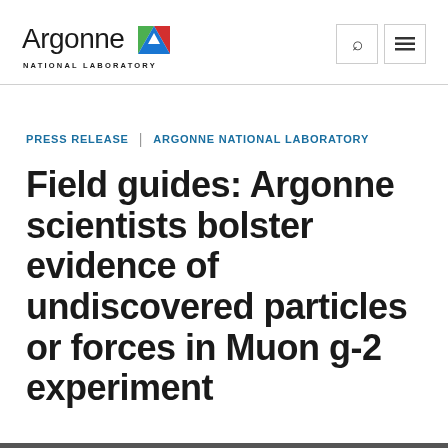[Figure (logo): Argonne National Laboratory logo with colorful triangle icon and text 'Argonne NATIONAL LABORATORY']
PRESS RELEASE | ARGONNE NATIONAL LABORATORY
Field guides: Argonne scientists bolster evidence of undiscovered particles or forces in Muon g-2 experiment